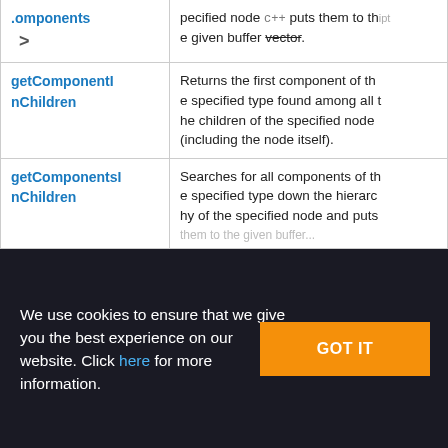| Method | Description |
| --- | --- |
| .omponents / > | pecified node c++ puts them to the given buffer vector. |
| getComponentInChildren | Returns the first component of the specified type found among all the children of the specified node (including the node itself). |
| getComponentsInChildren | Searches for all components of the specified type down the hierarchy of the specified node and puts them to the given buffer... |
We use cookies to ensure that we give you the best experience on our website. Click here for more information.